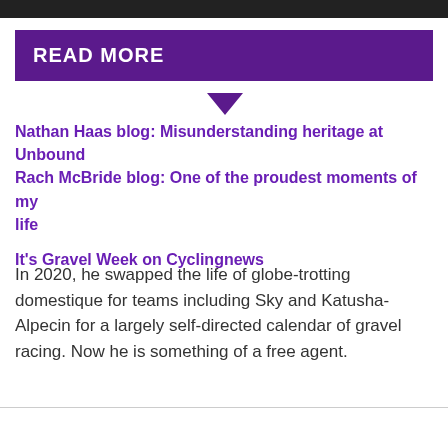[Figure (photo): Dark photo bar at top of page]
READ MORE
Nathan Haas blog: Misunderstanding heritage at Unbound Rach McBride blog: One of the proudest moments of my life
It's Gravel Week on Cyclingnews
In 2020, he swapped the life of globe-trotting domestique for teams including Sky and Katusha-Alpecin for a largely self-directed calendar of gravel racing. Now he is something of a free agent.